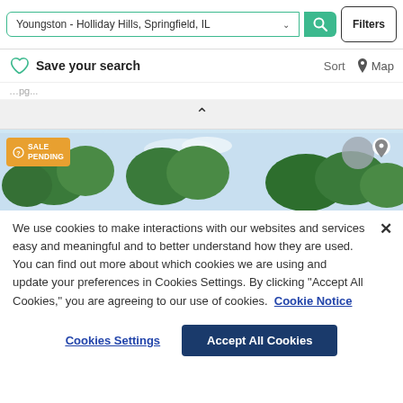Youngston - Holliday Hills, Springfield, IL  Filters
Save your search   Sort   Map
(partial breadcrumb text)
[Figure (photo): Property listing photo showing trees and sky with 'SALE PENDING' badge and map pin icon]
We use cookies to make interactions with our websites and services easy and meaningful and to better understand how they are used. You can find out more about which cookies we are using and update your preferences in Cookies Settings. By clicking "Accept All Cookies," you are agreeing to our use of cookies.  Cookie Notice
Cookies Settings   Accept All Cookies